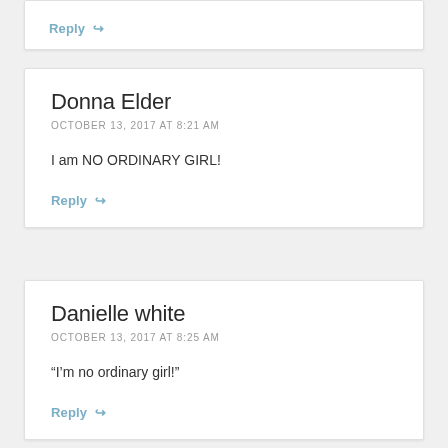Reply
Donna Elder
OCTOBER 13, 2017 AT 8:21 AM
I am NO ORDINARY GIRL!
Reply
Danielle white
OCTOBER 13, 2017 AT 8:25 AM
“I'm no ordinary girl!”
Reply